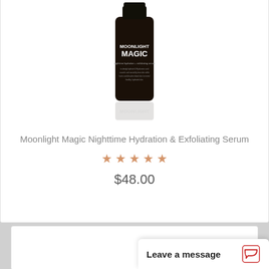[Figure (photo): Dark amber glass bottle of Moonlight Magic Nighttime Hydration & Exfoliating Serum with reflection below]
Moonlight Magic Nighttime Hydration & Exfoliating Serum
★★★★★
$48.00
[Figure (screenshot): Bottom of a second product card partially visible]
Leave a message